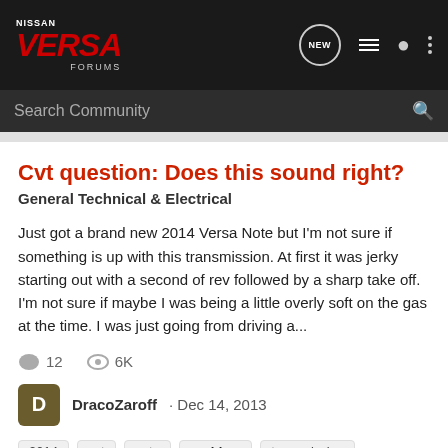NISSAN VERSA FORUMS — navigation bar with NEW, list, user, and menu icons
Search Community
Cvt question: Does this sound right?
General Technical & Electrical
Just got a brand new 2014 Versa Note but I'm not sure if something is up with this transmission. At first it was jerky starting out with a second of rev followed by a sharp take off. I'm not sure if maybe I was being a little overly soft on the gas at the time. I was just going from driving a...
12 comments · 6K views
DracoZaroff · Dec 14, 2013
2014
cvt
note
problem
transmission
Problem w/ 2013 Sedan engine/cvt